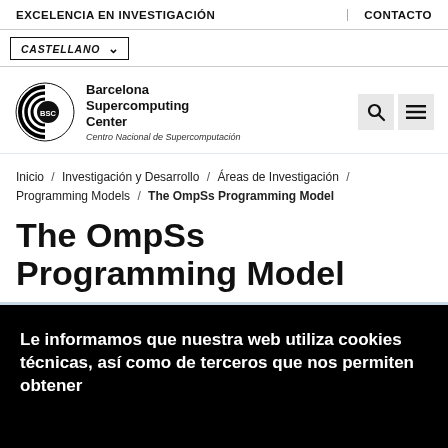EXCELENCIA EN INVESTIGACIÓN | CONTACTO
CASTELLANO
[Figure (logo): BSC Barcelona Supercomputing Center - Centro Nacional de Supercomputación logo with concentric arcs and BSC text in circle]
Inicio / Investigación y Desarrollo / Áreas de Investigación / Programming Models / The OmpSs Programming Model
The OmpSs Programming Model
Le informamos que nuestra web utiliza cookies técnicas, así como de terceros que nos permiten obtener